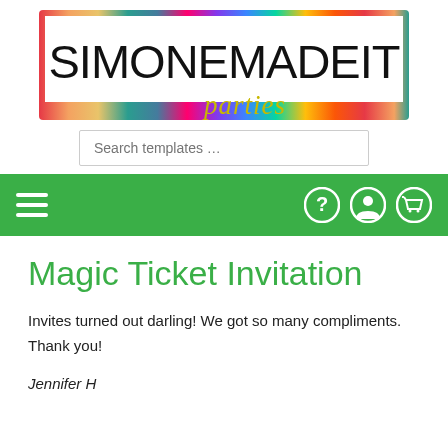[Figure (logo): Simonemadeit Parties logo with colorful rainbow border, white inner box, large text SIMONEMADEIT and cursive yellow-green 'parties' below]
Search templates …
[Figure (screenshot): Green navigation bar with hamburger menu icon on left and help, account, cart icons on right]
Magic Ticket Invitation
Invites turned out darling! We got so many compliments. Thank you!
Jennifer H